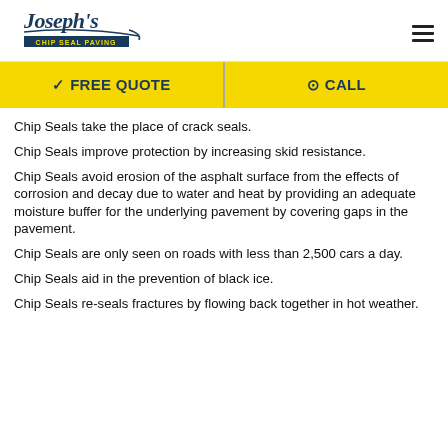Joseph's Chip Seal Paving
[Figure (logo): Joseph's Chip Seal Paving logo with cursive script and road graphic]
✔ FREE QUOTE   ⊙ CALL
Chip Seals take the place of crack seals.
Chip Seals improve protection by increasing skid resistance.
Chip Seals avoid erosion of the asphalt surface from the effects of corrosion and decay due to water and heat by providing an adequate moisture buffer for the underlying pavement by covering gaps in the pavement.
Chip Seals are only seen on roads with less than 2,500 cars a day.
Chip Seals aid in the prevention of black ice.
Chip Seals re-seals fractures by flowing back together in hot weather.